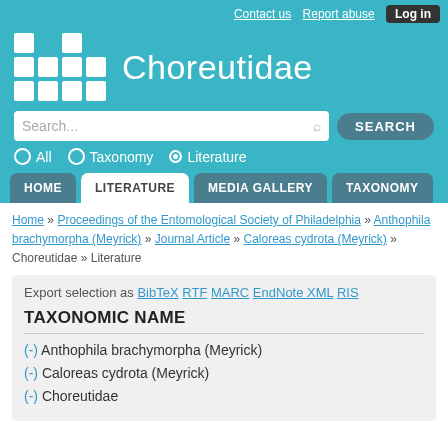Contact us   Report abuse   Log in
Choreutidae
Search...
All   Taxonomy   Literature
HOME   LITERATURE   MEDIA GALLERY   TAXONOMY
Home » Proceedings of the Entomological Society of Philadelphia » Anthophila brachymorpha (Meyrick) » Journal Article » Caloreas cydrota (Meyrick) » Choreutidae » Literature
Export selection as BibTeX RTF MARC EndNote XML RIS
TAXONOMIC NAME
(-) Anthophila brachymorpha (Meyrick)
(-) Caloreas cydrota (Meyrick)
(-) Choreutidae